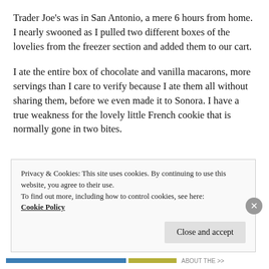Trader Joe's was in San Antonio, a mere 6 hours from home. I nearly swooned as I pulled two different boxes of the lovelies from the freezer section and added them to our cart.
I ate the entire box of chocolate and vanilla macarons, more servings than I care to verify because I ate them all without sharing them, before we even made it to Sonora. I have a true weakness for the lovely little French cookie that is normally gone in two bites.
Privacy & Cookies: This site uses cookies. By continuing to use this website, you agree to their use.
To find out more, including how to control cookies, see here:
Cookie Policy